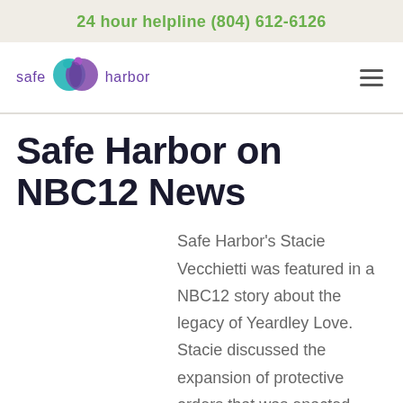24 hour helpline (804) 612-6126
[Figure (logo): Safe Harbor logo with teal and purple overlapping circles icon, text 'safe harbor' in purple]
Safe Harbor on NBC12 News
Safe Harbor's Stacie Vecchietti was featured in a NBC12 story about the legacy of Yeardley Love. Stacie discussed the expansion of protective orders that was enacted